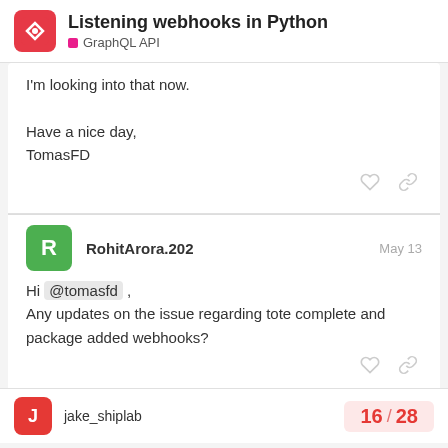Listening webhooks in Python — GraphQL API
I'm looking into that now.

Have a nice day,
TomasFD
RohitArora.202 — May 13
Hi @tomasfd , Any updates on the issue regarding tote complete and package added webhooks?
jake_shiplab — 16 / 28